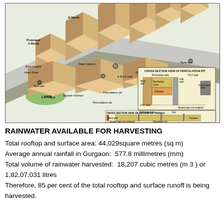[Figure (engineering-diagram): Aerial/isometric diagram of a housing colony showing rainwater harvesting infrastructure including bore wells, recharge trenches, and percolation pits distributed across multiple residential blocks (A-Block through F-Block). Inset cross-section diagrams show construction details of percolation pit and recharge trench, including components: perforated slab, RCC slab, brick wall, recharge bore, sand, inlet pipe, storm water drain, pebbles, slotted pipe coir wrapped, FCC base.]
RAINWATER AVAILABLE FOR HARVESTING
Total rooftop and surface area: 44,029square metres (sq m)
Average annual rainfall in Gurgaon:  577.8 millimetres (mm)
Total volume of rainwater harvested:  18,207 cubic metres (m 3 ) or 1,82,07,031 litres
Therefore, 85 per cent of the total rooftop and surface runoff is being harvested.